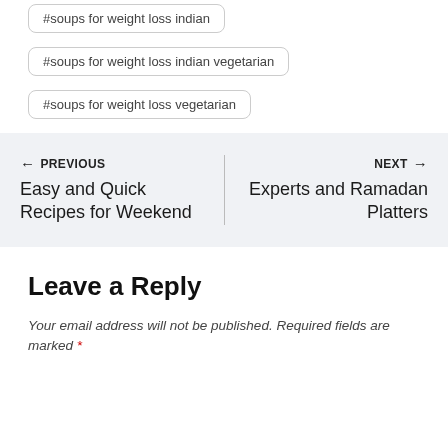#soups for weight loss indian
#soups for weight loss indian vegetarian
#soups for weight loss vegetarian
← PREVIOUS
Easy and Quick Recipes for Weekend
NEXT →
Experts and Ramadan Platters
Leave a Reply
Your email address will not be published. Required fields are marked *